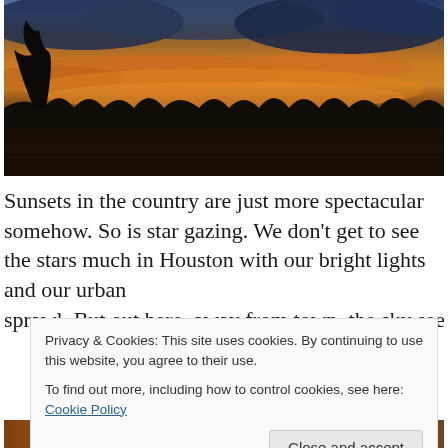[Figure (photo): Dramatic rural sunset landscape with vivid orange and blue sky, silhouetted trees along the horizon, and open fields in the foreground]
Sunsets in the country are just more spectacular somehow. So is star gazing. We don't get to see the stars much in Houston with our bright lights and our urban sprawl. But out here, away from town, the sky seems...
Privacy & Cookies: This site uses cookies. By continuing to use this website, you agree to their use.
To find out more, including how to control cookies, see here: Cookie Policy
[Close and accept]
[Figure (photo): Bottom portion of a colorful autumn or harvest-themed photo, partially visible]